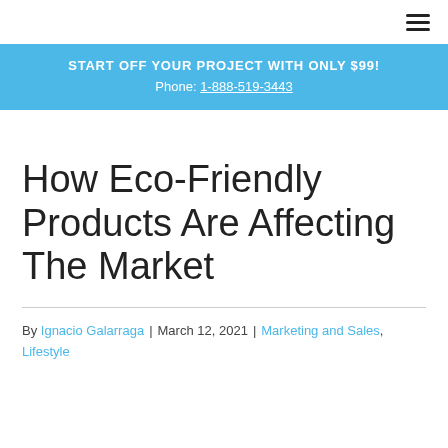START OFF YOUR PROJECT WITH ONLY $99!
Phone: 1-888-519-3443
How Eco-Friendly Products Are Affecting The Market
By Ignacio Galarraga | March 12, 2021 | Marketing and Sales, Lifestyle